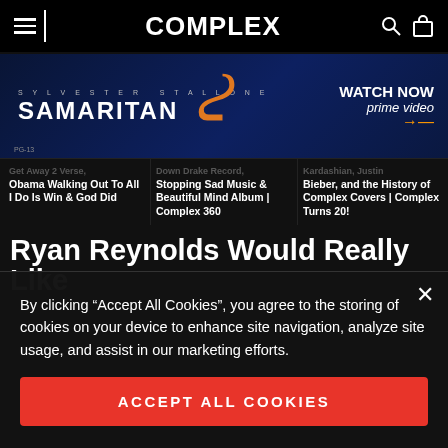COMPLEX
[Figure (screenshot): Samaritan movie advertisement banner with Sylvester Stallone. Text: SYLVESTER STALLONE SAMARITAN WATCH NOW prime video (Amazon logo)]
Get Away 2 Verse, Obama Walking Out To All I Do Is Win & God Did
Down Drake Record, Stopping Sad Music & Beautiful Mind Album | Complex 360
Kardashian, Justin Bieber, and the History of Complex Covers | Complex Turns 20!
Ryan Reynolds Would Really Like
By clicking “Accept All Cookies”, you agree to the storing of cookies on your device to enhance site navigation, analyze site usage, and assist in our marketing efforts.
ACCEPT ALL COOKIES